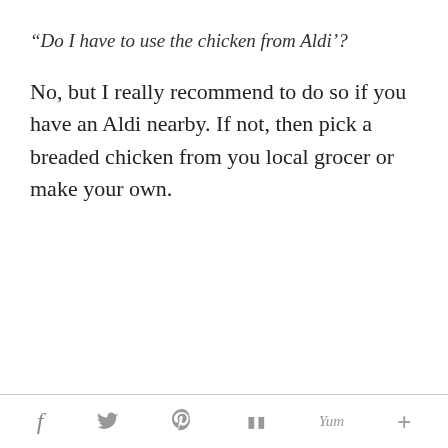“Do I have to use the chicken from Aldi’?”
No, but I really recommend to do so if you have an Aldi nearby. If not, then pick a breaded chicken from you local grocer or make your own.
f  🐦  p  m  Yum  +